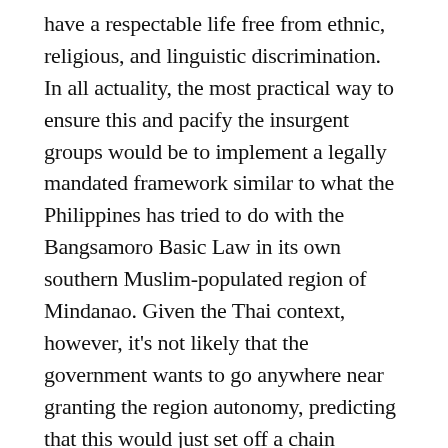have a respectable life free from ethnic, religious, and linguistic discrimination. In all actuality, the most practical way to ensure this and pacify the insurgent groups would be to implement a legally mandated framework similar to what the Philippines has tried to do with the Bangsamoro Basic Law in its own southern Muslim-populated region of Mindanao. Given the Thai context, however, it's not likely that the government wants to go anywhere near granting the region autonomy, predicting that this would just set off a chain reaction of similar separatist sentiment in the other ethno-regionally diverse parts of the country that would eventually result in the state's full autonomization, federalization, or political dissolution. Malaysia could facilitate this destructive process if it concedes to any US pressure to militantly